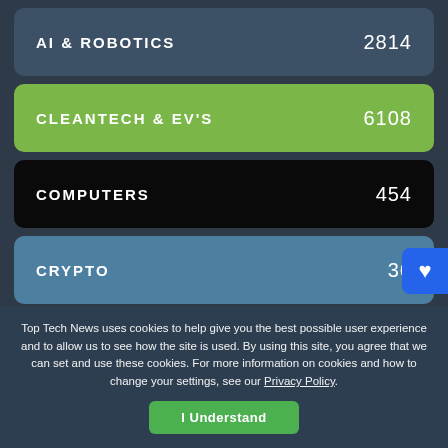AI & ROBOTICS  2814
CLEANTECH & EV'S  6108
COMPUTERS  454
CRYPTO  36
DEFENSE  494
GAMING  2747
Top Tech News uses cookies to help give you the best possible user experience and to allow us to see how the site is used. By using this site, you agree that we can set and use these cookies. For more information on cookies and how to change your settings, see our Privacy Policy.
I Understand